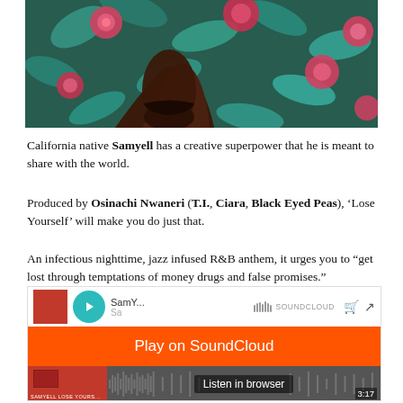[Figure (photo): Close-up photo of a person wearing a floral print dress/fabric with red and teal flowers, with a dark-skinned hand/wrist visible]
California native Samyell has a creative superpower that he is meant to share with the world.
Produced by Osinachi Nwaneri (T.I., Ciara, Black Eyed Peas), ‘Lose Yourself’ will make you do just that.
An infectious nighttime, jazz infused R&B anthem, it urges you to “get lost through temptations of money drugs and false promises.”
[Figure (screenshot): SoundCloud embedded player widget showing a track by SamY... with orange Play on SoundCloud button overlay and Listen in browser option. Duration shown as 3:17 and 19.8K plays.]